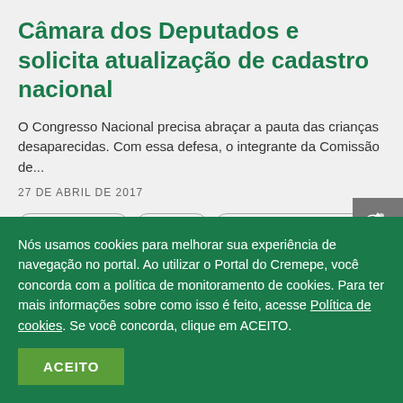Câmara dos Deputados e solicita atualização de cadastro nacional
O Congresso Nacional precisa abraçar a pauta das crianças desaparecidas. Com essa defesa, o integrante da Comissão de...
27 DE ABRIL DE 2017
AÇÕES SOCIAIS
CÂMARA
CRIANÇAS DESAPARECIDAS
Nós usamos cookies para melhorar sua experiência de navegação no portal. Ao utilizar o Portal do Cremepe, você concorda com a política de monitoramento de cookies. Para ter mais informações sobre como isso é feito, acesse Política de cookies. Se você concorda, clique em ACEITO.
ACEITO